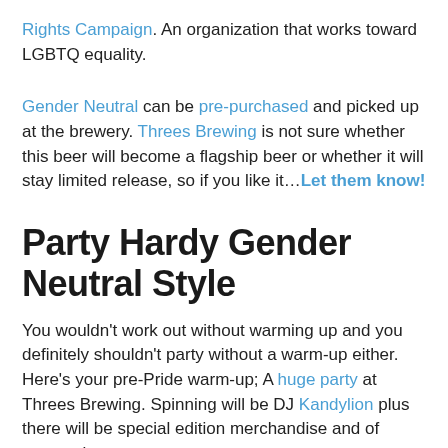Rights Campaign. An organization that works toward LGBTQ equality.
Gender Neutral can be pre-purchased and picked up at the brewery. Threes Brewing is not sure whether this beer will become a flagship beer or whether it will stay limited release, so if you like it…Let them know!
Party Hardy Gender Neutral Style
You wouldn't work out without warming up and you definitely shouldn't party without a warm-up either. Here's your pre-Pride warm-up; A huge party at Threes Brewing. Spinning will be DJ Kandylion plus there will be special edition merchandise and of course, beer,